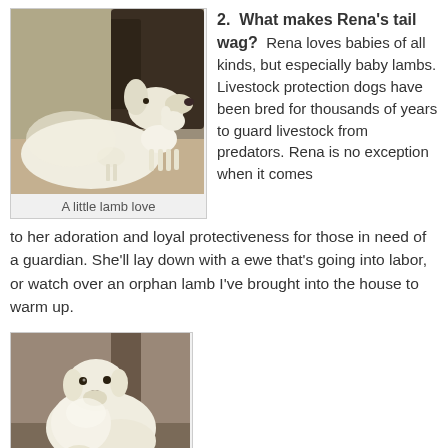[Figure (photo): A large white dog nuzzling a small white baby lamb indoors, with another small lamb visible behind.]
A little lamb love
2.  What makes Rena's tail wag?  Rena loves babies of all kinds, but especially baby lambs. Livestock protection dogs have been bred for thousands of years to guard livestock from predators. Rena is no exception when it comes to her adoration and loyal protectiveness for those in need of a guardian. She'll lay down with a ewe that's going into labor, or watch over an orphan lamb I've brought into the house to warm up.
[Figure (photo): A large white fluffy dog sitting and looking to the side, with a small dark animal visible below it.]